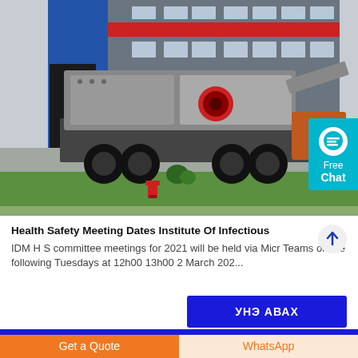[Figure (photo): A large industrial mobile crushing machine on a truck trailer, parked in front of a grey industrial building with red horizontal stripe. Green grass and a red fire hydrant in the foreground.]
Health Safety Meeting Dates Institute Of Infectious
IDM H S committee meetings for 2021 will be held via Micr Teams on the following Tuesdays at 12h00 13h00 2 March 202...
УНЭ АВАХ
Get a Quote
WhatsApp